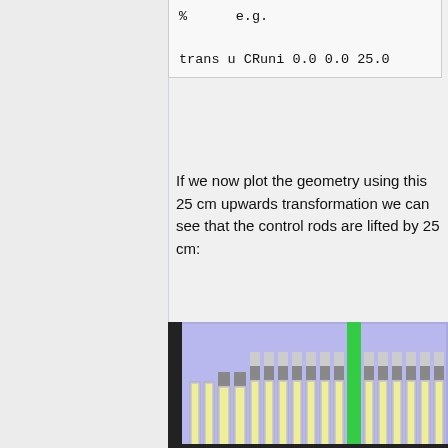%      e.g.

trans u CRuni 0.0 0.0 25.0
If we now plot the geometry using this 25 cm upwards transformation we can see that the control rods are lifted by 25 cm:
[Figure (engineering-diagram): Cross-sectional view of nuclear reactor geometry showing control rods lifted 25 cm. The diagram shows a purple/lavender background representing the reactor core, with multiple vertical fuel assemblies (yellow/light yellow rods with gray cladding) arranged in a row. One central assembly has a green vertical band indicating the control rod position. Gray rectangular elements appear at mid-height representing control rod absorbers partially inserted. The outer boundary has a thick dark border.]